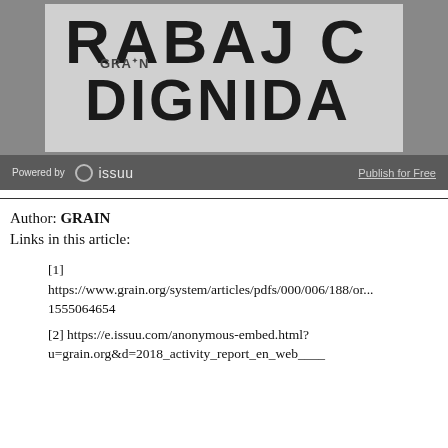[Figure (photo): Photo of a white banner/cloth with large black lettering reading 'TRABAJ...' and 'DIGNIDA...' with a GRAIN logo visible on the banner]
Powered by issuu   Publish for Free
Author: GRAIN
Links in this article:
[1] https://www.grain.org/system/articles/pdfs/000/006/188/or... 1555064654
[2] https://e.issuu.com/anonymous-embed.html?u=grain.org&d=2018_activity_report_en_web____